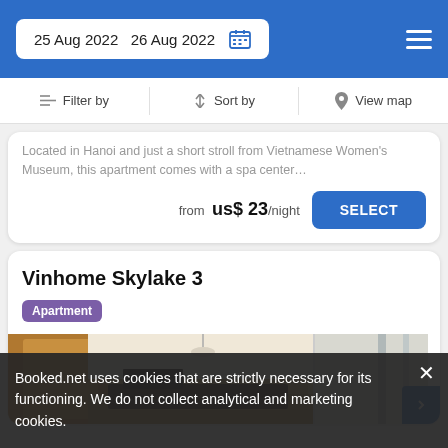25 Aug 2022   26 Aug 2022
Filter by   Sort by   View map
Located in Hanoi and just a short stroll from Vietnamese Women's Museum, this apartment comes with a spa center…
from  us$ 23/night   SELECT
Vinhome Skylake 3
Apartment
[Figure (photo): Interior photo of an apartment room showing warm-toned walls, curtains, and modern furniture]
Booked.net uses cookies that are strictly necessary for its functioning. We do not collect analytical and marketing cookies.